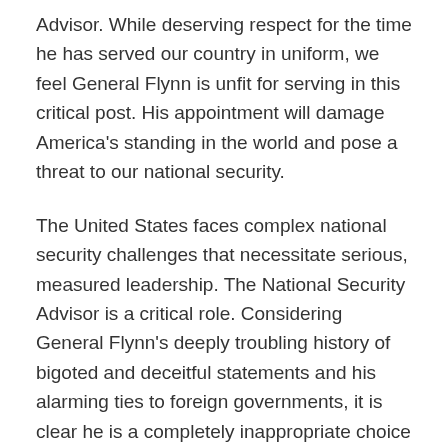Advisor. While deserving respect for the time he has served our country in uniform, we feel General Flynn is unfit for serving in this critical post. His appointment will damage America's standing in the world and pose a threat to our national security.
The United States faces complex national security challenges that necessitate serious, measured leadership. The National Security Advisor is a critical role. Considering General Flynn's deeply troubling history of bigoted and deceitful statements and his alarming ties to foreign governments, it is clear he is a completely inappropriate choice to serve in the most senior national security position in the White House.
General Flynn has repeatedly made Islamophobic